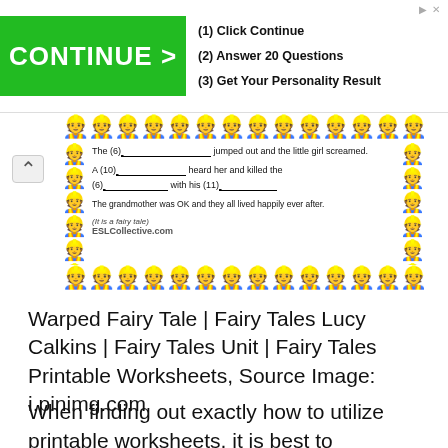[Figure (screenshot): Advertisement banner with green CONTINUE > button and text: (1) Click Continue, (2) Answer 20 Questions, (3) Get Your Personality Result]
[Figure (screenshot): Worksheet with gingerbread man border showing fill-in-the-blank sentences: The (6)___ jumped out and the little girl screamed. A (10)___ heard her and killed the (6)___ with his (11)___. The grandmother was OK and they all lived happily ever after. (It is a fairy tale). ESLCollective.com]
Warped Fairy Tale | Fairy Tales Lucy Calkins | Fairy Tales Unit | Fairy Tales Printable Worksheets, Source Image: i.pinimg.com
When finding out exactly how to utilize printable worksheets, it is best to concentrate on what